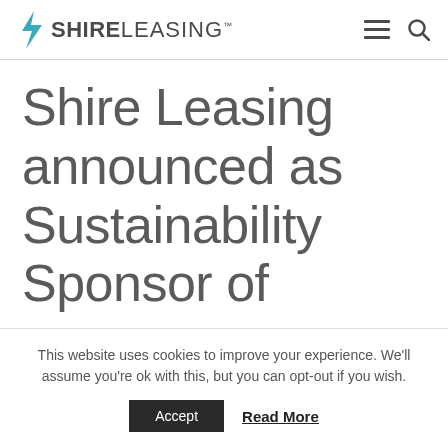Shire Leasing
Shire Leasing announced as Sustainability Sponsor of
This website uses cookies to improve your experience. We'll assume you're ok with this, but you can opt-out if you wish.
Accept | Read More